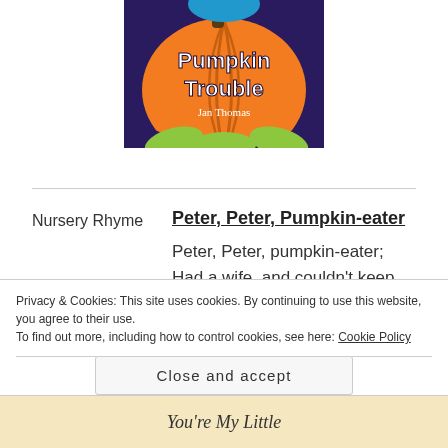[Figure (illustration): Book cover of 'Pumpkin Trouble' by Jan Thomas — orange pumpkin on dark background with green leaves at bottom.]
Nursery Rhyme
Peter, Peter, Pumpkin-eater
Peter, Peter, pumpkin-eater;
Had a wife, and couldn't keep her:
He put her in a pumpkin shell,
And there he kept her very well
Privacy & Cookies: This site uses cookies. By continuing to use this website, you agree to their use.
To find out more, including how to control cookies, see here: Cookie Policy
Close and accept
You're My Little